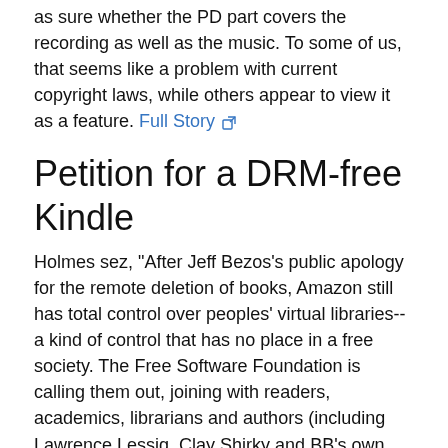as sure whether the PD part covers the recording as well as the music. To some of us, that seems like a problem with current copyright laws, while others appear to view it as a feature. Full Story
Petition for a DRM-free Kindle
Holmes sez, "After Jeff Bezos's public apology for the remote deletion of books, Amazon still has total control over peoples' virtual libraries-- a kind of control that has no place in a free society. The Free Software Foundation is calling them out, joining with readers, academics, librarians and authors (including Lawrence Lessig, Clay Shirky and BB's own Cory Doctorow) in a petition against Amazon's ebook DRM. The petition opens: 'We believe in a way of life based on the free exchange of ideas, in which books have and will continue to play a central role. Devices like Amazon's are trying to determine how people will interact with books, but Amazon's use of DRM to control and monitor users and their books constitutes a clear threat to the free exchange of ideas.'" Full Story
Aug 4